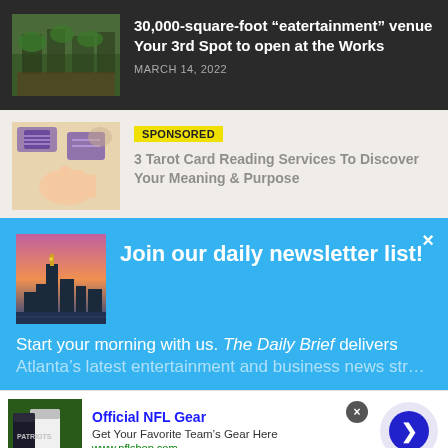[Figure (photo): Restaurant interior with warm lighting, wood furniture, plants]
30,000-square-foot “eatertainment” venue Your 3rd Spot to open at the Works
MARCH 14, 2022
[Figure (photo): Hands holding tarot cards with decorative blue patterns]
SPONSORED
3 Tarot Card Reading Services To Discover Your Meaning & Purpose
[Figure (photo): Atlanta city skyline at dusk with pink and blue sky]
Join our daily newsletter list!
Start your morning with us. The Daily Brief delivers Atlanta’s latest entertainment and business news straight to
[Figure (photo): NFL team jersey merchandise - Patriots shirt]
Official NFL Gear
Get Your Favorite Team's Gear Here
www.nflshop.com